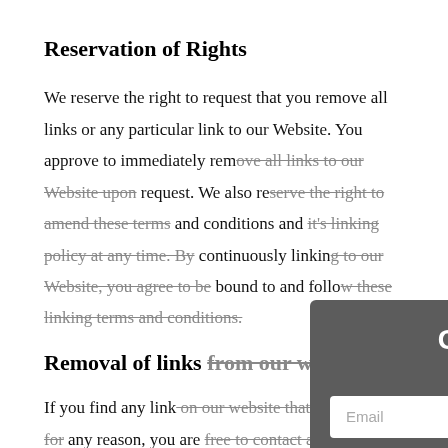Reservation of Rights
We reserve the right to request that you remove all links or any particular link to our Website. You approve to immediately remove all links to our Website upon request. We also reserve the right to amend these terms and conditions and it's linking policy at any time. By continuously linking to our Website, you agree to be bound to and follow these linking terms and conditions.
Removal of links from our website
If you find any link on our website that is offensive for any reason, you are free to contact and inform us any
[Figure (other): Email subscription popup overlay with dark gray background, title 'Get Our Free Eb', subtitle 'Subscribe to get a free e', email input field, and yellow Subscribe button]